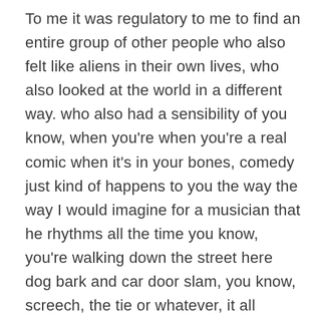To me it was regulatory to me to find an entire group of other people who also felt like aliens in their own lives, who also looked at the world in a different way. who also had a sensibility of you know, when you're when you're a real comic when it's in your bones, comedy just kind of happens to you the way the way I would imagine for a musician that he rhythms all the time you know, you're walking down the street here dog bark and car door slam, you know, screech, the tie or whatever, it all becomes rhythmic right? Well that's true for comedy too. When you're really immersed in it and it becomes a lens through which you experience the world. That same thing happens in comedy just kinds of happens and and walking into the improv and being among a group of